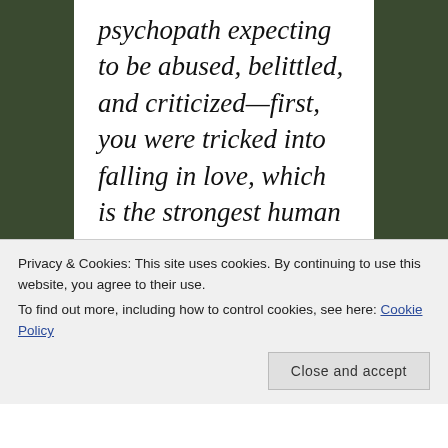psychopath expecting to be abused, belittled, and criticized—first, you were tricked into falling in love, which is the strongest human bond in the world. Psychopaths know this. ...The psychopath's ability to groom others is unmatched. They feel an intense
Privacy & Cookies: This site uses cookies. By continuing to use this website, you agree to their use. To find out more, including how to control cookies, see here: Cookie Policy